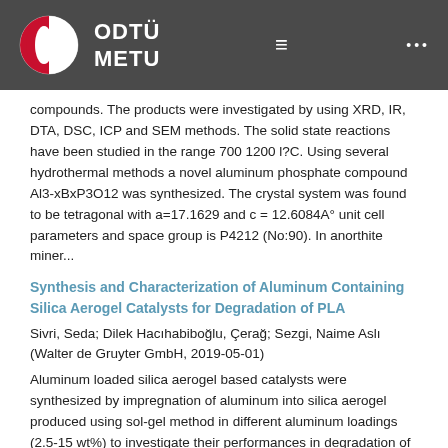ODTÜ METU
compounds. The products were investigated by using XRD, IR, DTA, DSC, ICP and SEM methods. The solid state reactions have been studied in the range 700 1200 l?C. Using several hydrothermal methods a novel aluminum phosphate compound Al3-xBxP3O12 was synthesized. The crystal system was found to be tetragonal with a=17.1629 and c = 12.6084A° unit cell parameters and space group is P4212 (No:90). In anorthite miner...
Synthesis and Characterization of Aluminum Containing Silica Aerogel Catalysts for Degradation of PLA
Sivri, Seda; Dilek Hacıhabiboğlu, Çerağ; Sezgi, Naime Aslı (Walter de Gruyter GmbH, 2019-05-01)
Aluminum loaded silica aerogel based catalysts were synthesized by impregnation of aluminum into silica aerogel produced using sol-gel method in different aluminum loadings (2.5-15 wt%) to investigate their performances in degradation of polylactic acid (PLA).